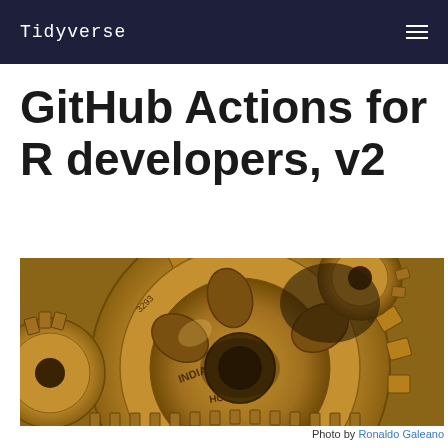Tidyverse
GitHub Actions for R developers, v2
[Figure (photo): Close-up photograph of interlocking brass/golden mechanical gears with text 'MADE IN INDIA' and 'HCL' stamped on them, along with numbers like 3293 and 400]
Photo by Ronaldo Galeano